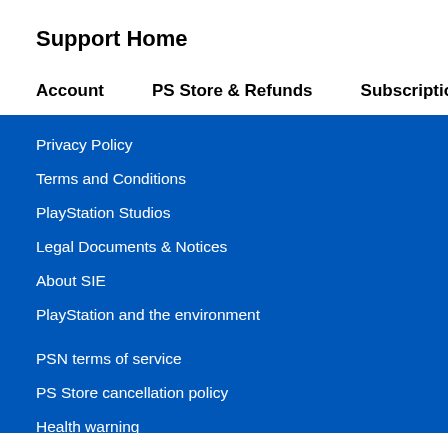Support Home
Account  PS Store & Refunds  Subscriptions  Hardw›
Privacy Policy
Terms and Conditions
PlayStation Studios
Legal Documents & Notices
About SIE
PlayStation and the environment
PSN terms of service
PS Store cancellation policy
Health warning
Age ratings
PlayStation careers
Intellectual property notices